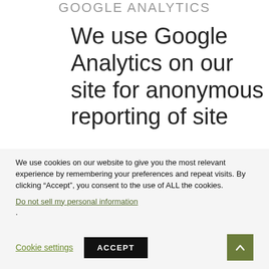GOOGLE ANALYTICS
We use Google Analytics on our site for anonymous reporting of site
We use cookies on our website to give you the most relevant experience by remembering your preferences and repeat visits. By clicking “Accept”, you consent to the use of ALL the cookies. Do not sell my personal information.
Cookie settings  ACCEPT